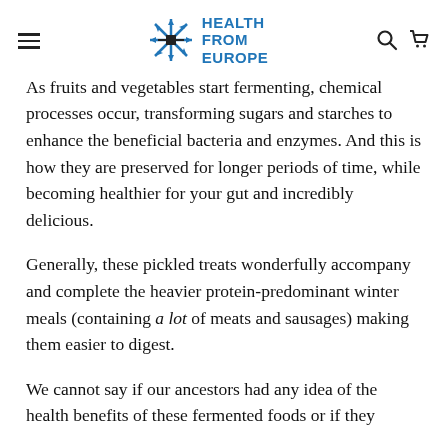HEALTH FROM EUROPE
As fruits and vegetables start fermenting, chemical processes occur, transforming sugars and starches to enhance the beneficial bacteria and enzymes. And this is how they are preserved for longer periods of time, while becoming healthier for your gut and incredibly delicious.
Generally, these pickled treats wonderfully accompany and complete the heavier protein-predominant winter meals (containing a lot of meats and sausages) making them easier to digest.
We cannot say if our ancestors had any idea of the health benefits of these fermented foods or if they